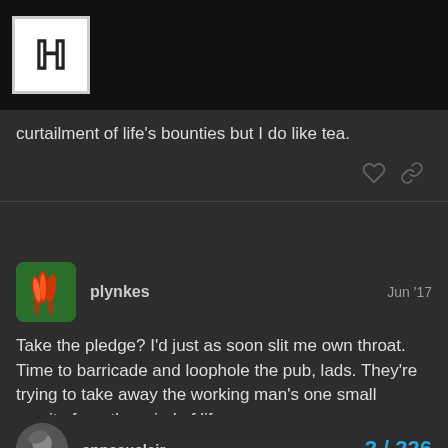[Figure (logo): Forum logo with stylized H letter in serif font inside a square border on black background]
curtailment of life's bounties but I do like tea.
plynkes   Jun '17
Take the pledge? I'd just as soon slit me own throat. Time to barricade and loophole the pub, lads. They're trying to take away the working man's one small respite from the grind of life.

Well, that narrows it down to two candidates and makes the choice easier, at least. :)
anneauclair   2 / 226